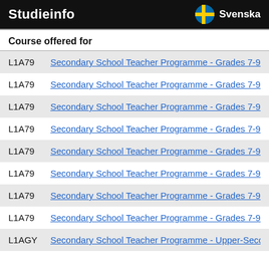Studieinfo   Svenska
Course offered for
L1A79   Secondary School Teacher Programme - Grades 7-9 o
L1A79   Secondary School Teacher Programme - Grades 7-9 o
L1A79   Secondary School Teacher Programme - Grades 7-9 o
L1A79   Secondary School Teacher Programme - Grades 7-9 o
L1A79   Secondary School Teacher Programme - Grades 7-9 o
L1A79   Secondary School Teacher Programme - Grades 7-9 o
L1A79   Secondary School Teacher Programme - Grades 7-9 o
L1A79   Secondary School Teacher Programme - Grades 7-9 o
L1AGY   Secondary School Teacher Programme - Upper-Secon